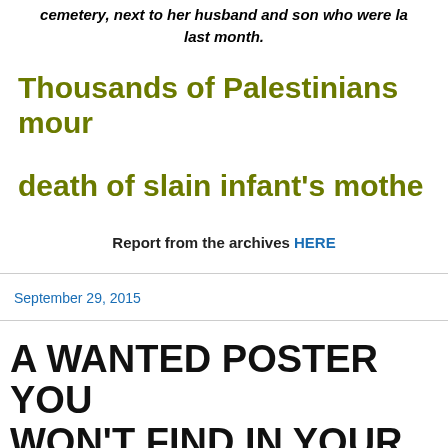cemetery, next to her husband and son who were la last month.
Thousands of Palestinians mour death of slain infant's mothe
Report from the archives HERE
September 29, 2015
A WANTED POSTER YOU WON'T FIND IN YOUR POS